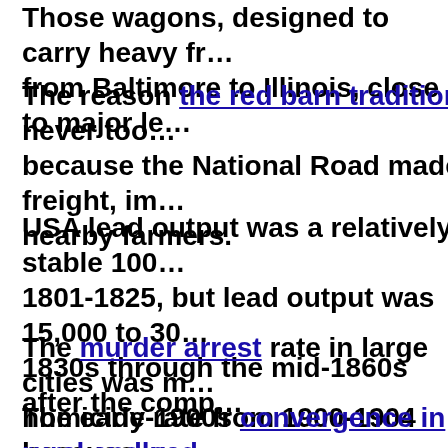Those wagons, designed to carry heavy fr… from Baltimore to Illinois, close to major le…
The reason the red barn tradition never too… because the National Road made freight, im… nearby farmers.
USA lead output was a relatively stable 100… 1801-1825, but lead output was 15,000 to 30… 1830s through the mid-1860s after the comp…
The murder arrest rate in large cities was m… homicide rate from 1900-1904 because lead… in large cities but unavailable in most rural…
The early-1900s convergence in rural and u… by a late-1800s convergence in rural and ur…